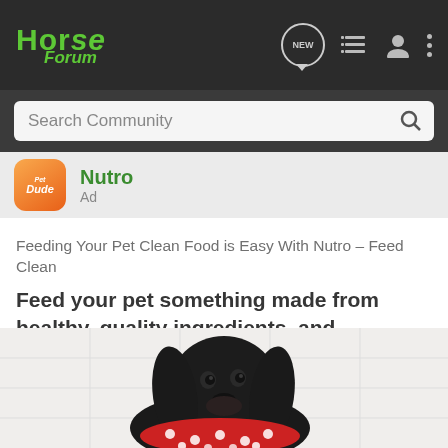Horse Forum
Search Community
Nutro
Ad
Feeding Your Pet Clean Food is Easy With Nutro – Feed Clean
Feed your pet something made from healthy, quality ingredients, and formulated to meet all of their nutritional needs
[Figure (photo): Black cocker spaniel dog wearing a red polka dot bandana, sitting against a white tiled wall background]